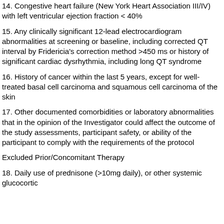14. Congestive heart failure (New York Heart Association III/IV) with left ventricular ejection fraction < 40%
15. Any clinically significant 12-lead electrocardiogram abnormalities at screening or baseline, including corrected QT interval by Fridericia's correction method >450 ms or history of significant cardiac dysrhythmia, including long QT syndrome
16. History of cancer within the last 5 years, except for well-treated basal cell carcinoma and squamous cell carcinoma of the skin
17. Other documented comorbidities or laboratory abnormalities that in the opinion of the Investigator could affect the outcome of the study assessments, participant safety, or ability of the participant to comply with the requirements of the protocol
Excluded Prior/Concomitant Therapy
18. Daily use of prednisone (>10mg daily), or other systemic glucocortic